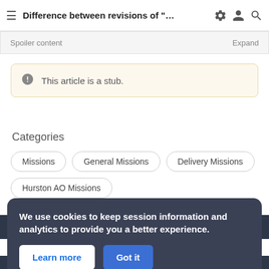Difference between revisions of "..."
Spoiler content  Expand
This article is a stub.
Categories
Missions
General Missions
Delivery Missions
Hurston AO Missions
Last edited 15 months ago on 21 May 2021 at 17:51
We use cookies to keep session information and analytics to provide you a better experience.
Learn more  Got it
Star Citizen Wiki is an unofficial wiki dedicated to Star Citizen and